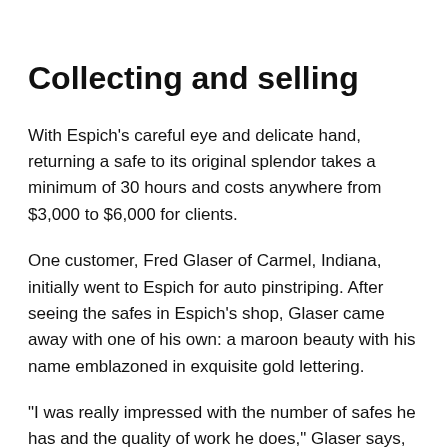Collecting and selling
With Espich's careful eye and delicate hand, returning a safe to its original splendor takes a minimum of 30 hours and costs anywhere from $3,000 to $6,000 for clients.
One customer, Fred Glaser of Carmel, Indiana, initially went to Espich for auto pinstriping. After seeing the safes in Espich's shop, Glaser came away with one of his own: a maroon beauty with his name emblazoned in exquisite gold lettering.
"I was really impressed with the number of safes he has and the quality of work he does," Glaser says,